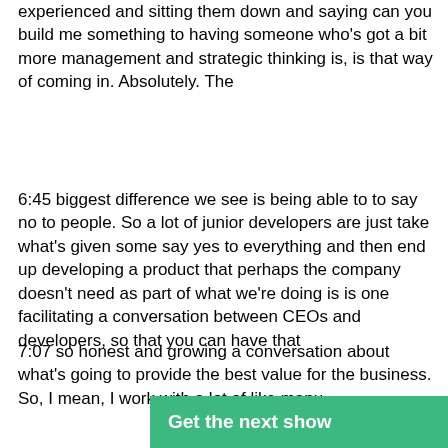experienced and sitting them down and saying can you build me something to having someone who's got a bit more management and strategic thinking is, is that way of coming in. Absolutely. The
6:45 biggest difference we see is being able to to say no to people. So a lot of junior developers are just take what's given some say yes to everything and then end up developing a product that perhaps the company doesn't need as part of what we're doing is is one facilitating a conversation between CEOs and developers, so that you can have that
7:07 so honest and growing a conversation about what's going to provide the best value for the business. So, I mean, I work with a lot of like manu
Get the next show